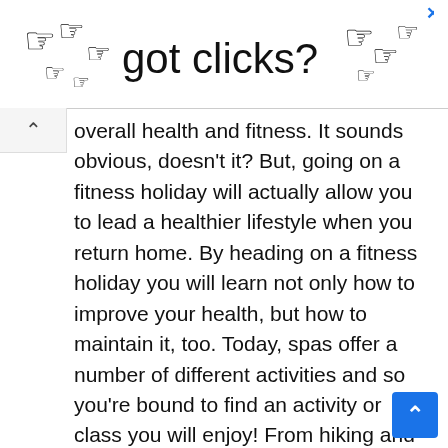[Figure (other): Advertisement banner with pointing hand cursor icons and text 'got clicks?' with a close X button]
overall health and fitness. It sounds obvious, doesn't it? But, going on a fitness holiday will actually allow you to lead a healthier lifestyle when you return home. By heading on a fitness holiday you will learn not only how to improve your health, but how to maintain it, too. Today, spas offer a number of different activities and so you're bound to find an activity or class you will enjoy! From hiking and circuit training to swimming, the possibilities are endless!
Prevention
Today, fitness holidays focus on more than simply improving your health and fitness. They also focus on preventing health problems from arising in the future and identifying potential problems early before they fully take hold. Many focus on stress related issues, which we have seen rise in recent years. Aiming to prevent unhealthy